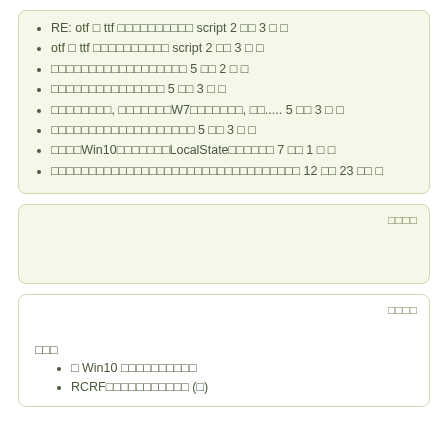RE: otf □ ttf □□□□□□□□□□ script 2 □□ 3 □ □
otf □ ttf □□□□□□□□□□ script 2 □□ 3 □ □
□□□□□□□□□□□□□□□□□□ 5 □□ 2 □ □
□□□□□□□□□□□□□□□ 5 □□ 3 □ □
□□□□□□□□, □□□□□□□W7□□□□□□□, □□..... 5 □□ 3 □ □
□□□□□□□□□□□□□□□□□□□ 5 □□ 3 □ □
□□□□Win10□□□□□□□LocalState□□□□□□ 7 □□ 1 □ □
□□□□□□□□□□□□□□□□□□□□□□□□□□□□□□□□□ 12 □□ 23 □□ □
□□□□
□□□□
□□□
□ Win10 □□□□□□□□□□
RCRF□□□□□□□□□□□ (□)